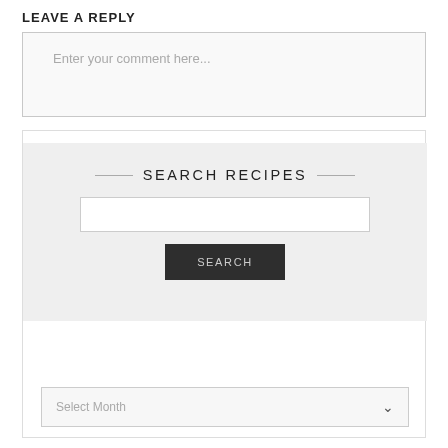LEAVE A REPLY
Enter your comment here...
SEARCH RECIPES
RECIPE ARCHIVES
Select Month